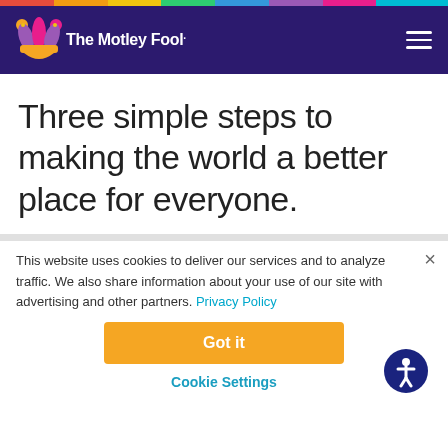The Motley Fool
Three simple steps to making the world a better place for everyone.
This website uses cookies to deliver our services and to analyze traffic. We also share information about your use of our site with advertising and other partners. Privacy Policy
Got it
Cookie Settings